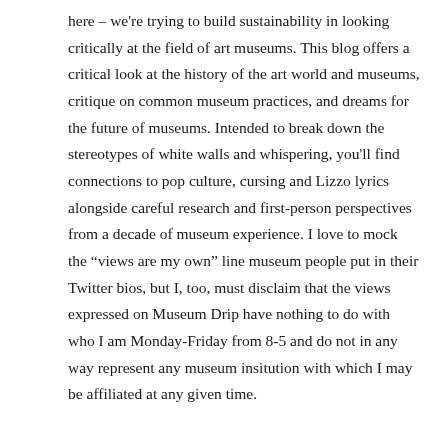here – we're trying to build sustainability in looking critically at the field of art museums. This blog offers a critical look at the history of the art world and museums, critique on common museum practices, and dreams for the future of museums. Intended to break down the stereotypes of white walls and whispering, you'll find connections to pop culture, cursing and Lizzo lyrics alongside careful research and first-person perspectives from a decade of museum experience. I love to mock the “views are my own” line museum people put in their Twitter bios, but I, too, must disclaim that the views expressed on Museum Drip have nothing to do with who I am Monday-Friday from 8-5 and do not in any way represent any museum insitution with which I may be affiliated at any given time.